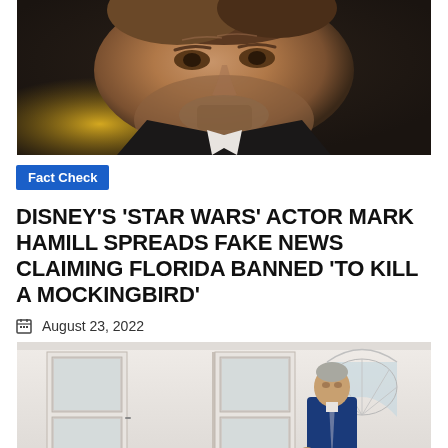[Figure (photo): Close-up photo of an older man with grey stubble and brown hair against a dark background]
Fact Check
DISNEY'S 'STAR WARS' ACTOR MARK HAMILL SPREADS FAKE NEWS CLAIMING FLORIDA BANNED 'TO KILL A MOCKINGBIRD'
August 23, 2022
[Figure (photo): Photo of an older man in a blue suit walking through a white corridor with glass doors and an arched window, resembling the White House]